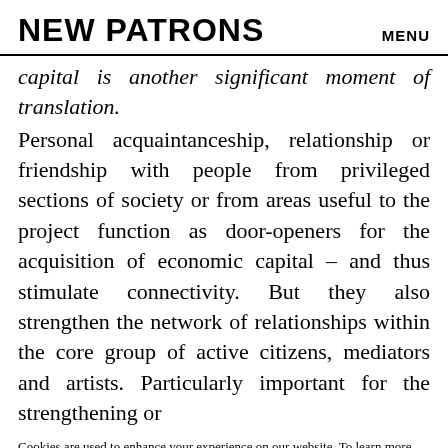NEW PATRONS   MENU
capital is another significant moment of translation. Personal acquaintanceship, relationship or friendship with people from privileged sections of society or from areas useful to the project function as door-openers for the acquisition of economic capital – and thus stimulate connectivity. But they also strengthen the network of relationships within the core group of active citizens, mediators and artists. Particularly important for the strengthening or
Cookies are used to enhance your experience on our website. To learn more about the types of cookies this website uses, see our Privacy Policy.
OKAY   MANAGE COOKIES